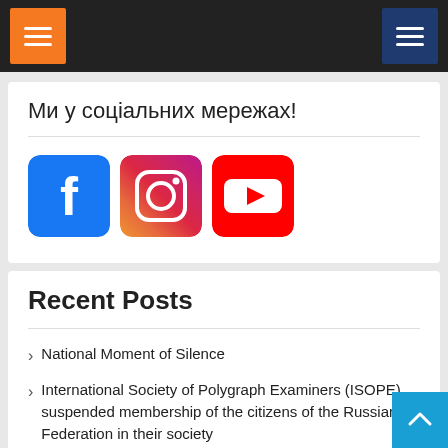[Figure (screenshot): Navigation bar with orange hamburger menu on left and dark blue hamburger menu on right, on dark background]
Ми у соціальних мережах!
[Figure (infographic): Three social media icons: Facebook (blue), Instagram (pink/red gradient), YouTube (red)]
Recent Posts
National Moment of Silence
International Society of Polygraph Examiners (ISOPE) suspended membership of the citizens of the Russian Federation in their society
Precarpathian University improves its position in the international Webometrics ranking!